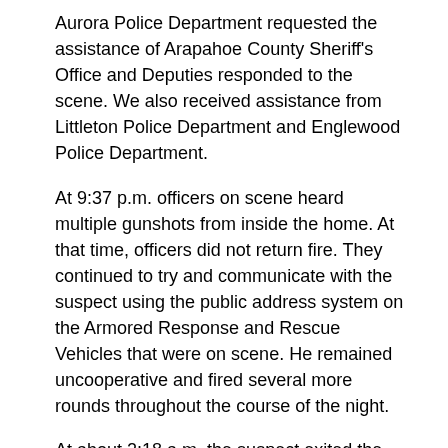Aurora Police Department requested the assistance of Arapahoe County Sheriff's Office and Deputies responded to the scene. We also received assistance from Littleton Police Department and Englewood Police Department.
At 9:37 p.m. officers on scene heard multiple gunshots from inside the home. At that time, officers did not return fire. They continued to try and communicate with the suspect using the public address system on the Armored Response and Rescue Vehicles that were on scene. He remained uncooperative and fired several more rounds throughout the course of the night.
At about 2:18 a.m. the suspect exited the home, armed with a rifle. Shots were fired by one Aurora Police Officer and one Arapahoe County Sheriff's Deputy. Medical care was provided by Aurora Fire Rescue, and the suspect was transported to the hospital. He did not survive his wounds.
The Aurora Police Officer and Arapahoe County Deputy who fired their weapons were equipped with